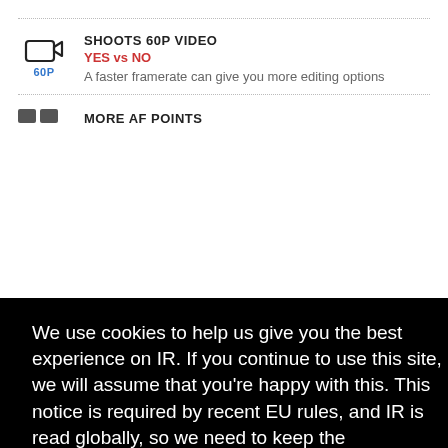[Figure (other): Camera video icon with 60P label]
SHOOTS 60P VIDEO
YES vs NO
A faster framerate can give you more editing options
[Figure (other): Cookie consent overlay with text and Got it button]
We use cookies to help us give you the best experience on IR. If you continue to use this site, we will assume that you're happy with this. This notice is required by recent EU rules, and IR is read globally, so we need to keep the bureaucrats off our case!
Learn more
Got it!
BIGGER JPEG BUFFER